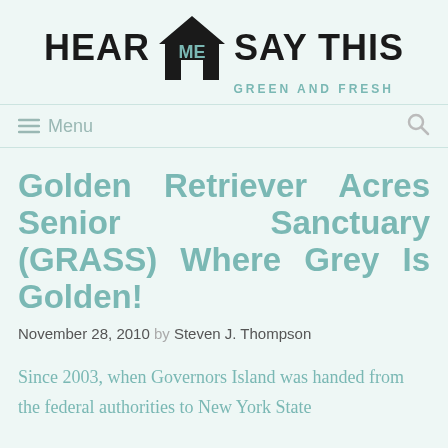[Figure (logo): Hear Me Say This logo with house icon and tagline GREEN AND FRESH]
≡ Menu
Golden Retriever Acres Senior Sanctuary (GRASS) Where Grey Is Golden!
November 28, 2010 by Steven J. Thompson
Since 2003, when Governors Island was handed from the federal authorities to New York State